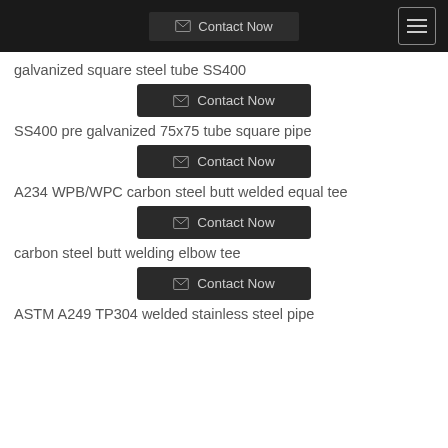Contact Now
galvanized square steel tube SS400
Contact Now
SS400 pre galvanized 75x75 tube square pipe
Contact Now
A234 WPB/WPC carbon steel butt welded equal tee
Contact Now
carbon steel butt welding elbow tee
Contact Now
ASTM A249 TP304 welded stainless steel pipe